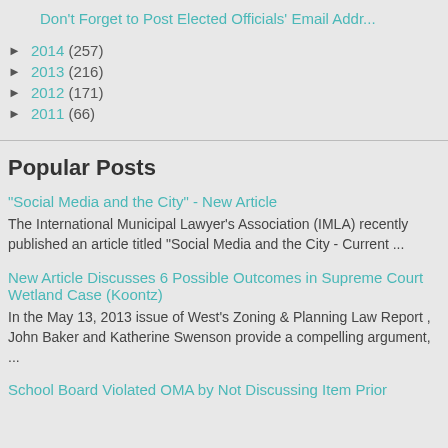Don't Forget to Post Elected Officials' Email Addr...
► 2014 (257)
► 2013 (216)
► 2012 (171)
► 2011 (66)
Popular Posts
"Social Media and the City" - New Article
The International Municipal Lawyer's Association (IMLA) recently published an article titled "Social Media and the City - Current ...
New Article Discusses 6 Possible Outcomes in Supreme Court Wetland Case (Koontz)
In the May 13, 2013 issue of West's Zoning & Planning Law Report , John Baker and Katherine Swenson provide a compelling argument, ...
School Board Violated OMA by Not Discussing Item Prior